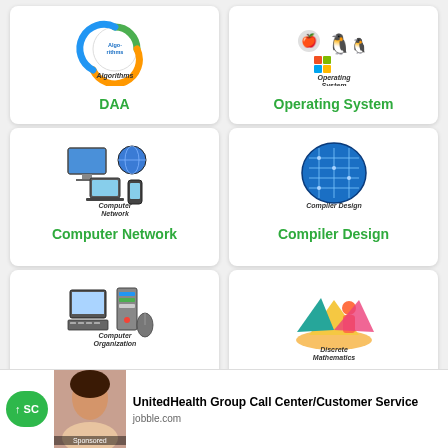[Figure (illustration): DAA (Design and Analysis of Algorithms) course card with circular arrow icon labeled Algorithms]
[Figure (illustration): Operating System course card with Apple, Linux, Windows logos]
[Figure (illustration): Computer Network course card with network devices icon]
[Figure (illustration): Compiler Design course card with brain/circuit image]
[Figure (illustration): Computer Organization course card with computer hardware image]
[Figure (illustration): Discrete Mathematics course card with colorful geometric shapes]
UnitedHealth Group Call Center/Customer Service
jobble.com